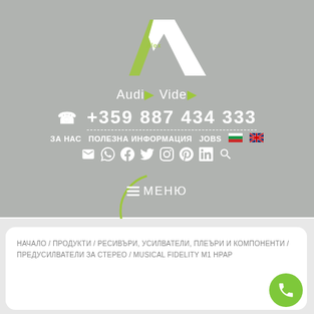[Figure (logo): Alex AV Audio Video logo — stylized AV letters in white and green on grey background, with 'Alex' text in green and 'Audio Video' text below]
Audio Video
✆ +359 887 434 333
ЗА НАС   ПОЛЕЗНА ИНФОРМАЦИЯ   JOBS
[Figure (infographic): Row of social media icons: email, WhatsApp, Facebook, Twitter, Instagram, Pinterest, LinkedIn, Search]
[Figure (infographic): Circular green outlined button with hamburger menu icon and МЕНЮ text]
НАЧАЛО / ПРОДУКТИ / РЕСИВЪРИ, УСИЛВАТЕЛИ, ПЛЕЪРИ И КОМПОНЕНТИ / ПРЕДУСИЛВАТЕЛИ ЗА СТЕРЕО / MUSICAL FIDELITY M1 НРАР